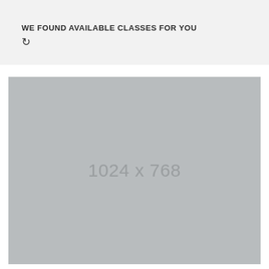WE FOUND AVAILABLE CLASSES FOR YOU ↻
[Figure (other): Placeholder image area showing dimensions 1024 x 768, rendered as a solid gray rectangle with centered dimension text]